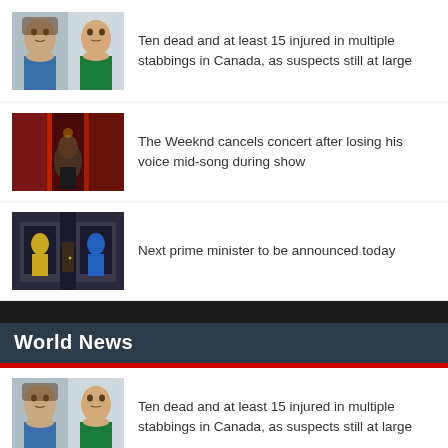[Figure (photo): Two mugshot photos of suspects side by side]
Ten dead and at least 15 injured in multiple stabbings in Canada, as suspects still at large
[Figure (photo): Concert photo of The Weeknd on stage with red lighting]
The Weeknd cancels concert after losing his voice mid-song during show
[Figure (photo): Mural or artwork showing two figures in windows of a building]
Next prime minister to be announced today
World News
[Figure (photo): Two mugshot photos of suspects side by side]
Ten dead and at least 15 injured in multiple stabbings in Canada, as suspects still at large